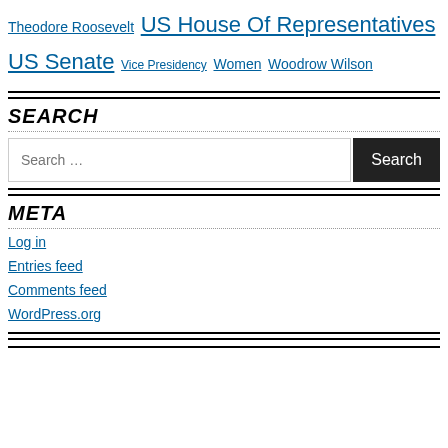Theodore Roosevelt US House Of Representatives US Senate Vice Presidency Women Woodrow Wilson
SEARCH
[Figure (screenshot): Search input box with placeholder 'Search ...' and a dark Search button]
META
Log in
Entries feed
Comments feed
WordPress.org